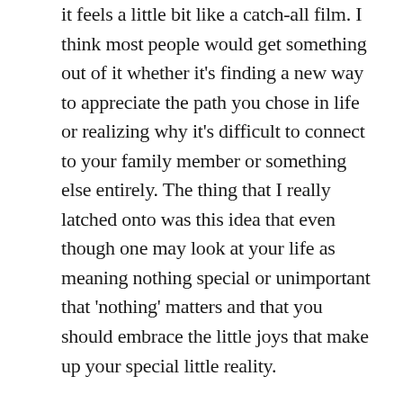it feels a little bit like a catch-all film. I think most people would get something out of it whether it's finding a new way to appreciate the path you chose in life or realizing why it's difficult to connect to your family member or something else entirely. The thing that I really latched onto was this idea that even though one may look at your life as meaning nothing special or unimportant that 'nothing' matters and that you should embrace the little joys that make up your special little reality.

I want to really talk about one performance that I am going to remember this film for. Michelle Yeoh is fantastic like she always has been. Jamie Lee Curtis is really terrific too, and it looks like she had a lot of fun here. Yeoh and Curtis are